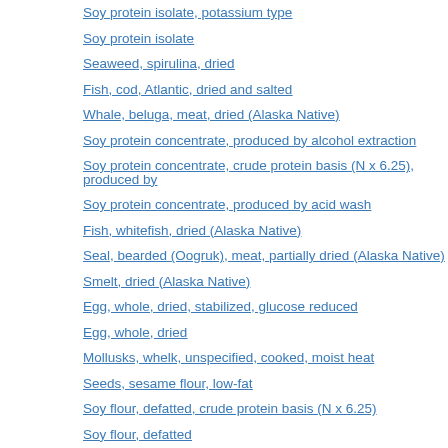Soy protein isolate, potassium type
Soy protein isolate
Seaweed, spirulina, dried
Fish, cod, Atlantic, dried and salted
Whale, beluga, meat, dried (Alaska Native)
Soy protein concentrate, produced by alcohol extraction
Soy protein concentrate, crude protein basis (N x 6.25), produced by
Soy protein concentrate, produced by acid wash
Fish, whitefish, dried (Alaska Native)
Seal, bearded (Oogruk), meat, partially dried (Alaska Native)
Smelt, dried (Alaska Native)
Egg, whole, dried, stabilized, glucose reduced
Egg, whole, dried
Mollusks, whelk, unspecified, cooked, moist heat
Seeds, sesame flour, low-fat
Soy flour, defatted, crude protein basis (N x 6.25)
Soy flour, defatted